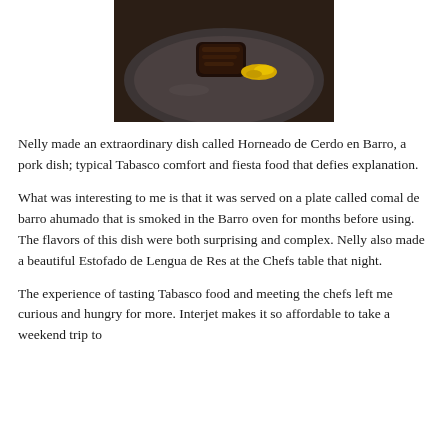[Figure (photo): A dark clay plate (comal de barro ahumado) with a piece of braised/encrusted pork (Horneado de Cerdo en Barro) and a yellow garnish, photographed on a dark background.]
Nelly made an extraordinary dish called Horneado de Cerdo en Barro, a pork dish; typical Tabasco comfort and fiesta food that defies explanation.
What was interesting to me is that it was served on a plate called comal de barro ahumado that is smoked in the Barro oven for months before using. The flavors of this dish were both surprising and complex. Nelly also made a beautiful Estofado de Lengua de Res at the Chefs table that night.
The experience of tasting Tabasco food and meeting the chefs left me curious and hungry for more. Interjet makes it so affordable to take a weekend trip to